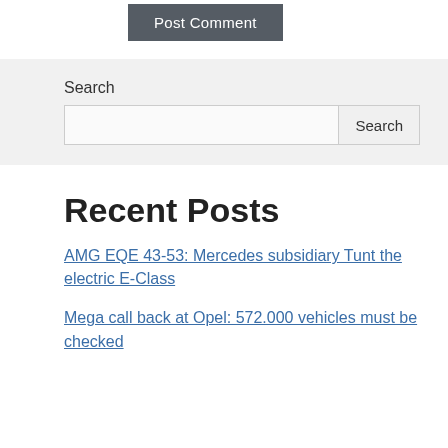[Figure (screenshot): Post Comment button with dark gray background and white text]
Search
[Figure (screenshot): Search input box and Search button]
Recent Posts
AMG EQE 43-53: Mercedes subsidiary Tunt the electric E-Class
Mega call back at Opel: 572.000 vehicles must be checked